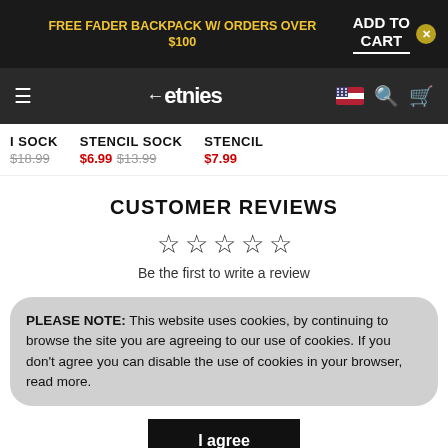FREE FADER BACKPACK W/ ORDERS OVER $100 | ADD TO CART
etnies navigation bar
I SOCK $18.99 | STENCIL SOCK $6.99 $13.99 | STENCIL $7.99
CUSTOMER REVIEWS
Be the first to write a review
PLEASE NOTE: This website uses cookies, by continuing to browse the site you are agreeing to our use of cookies. If you don't agree you can disable the use of cookies in your browser, read more.
I agree